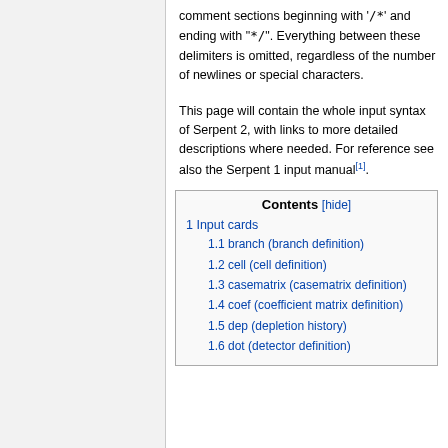comment sections beginning with '/*' and ending with "*/". Everything between these delimiters is omitted, regardless of the number of newlines or special characters.
This page will contain the whole input syntax of Serpent 2, with links to more detailed descriptions where needed. For reference see also the Serpent 1 input manual[1].
| Contents [hide] |
| 1 Input cards |
| 1.1 branch (branch definition) |
| 1.2 cell (cell definition) |
| 1.3 casematrix (casematrix definition) |
| 1.4 coef (coefficient matrix definition) |
| 1.5 dep (depletion history) |
| 1.6 dot (detector definition) |